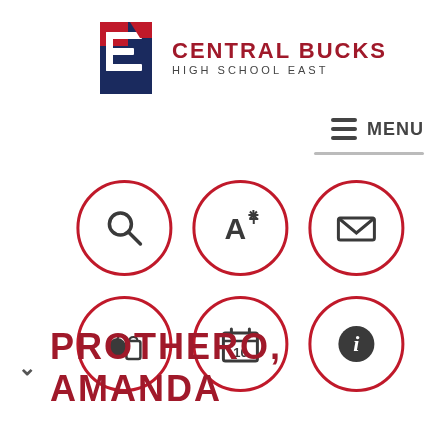[Figure (logo): Central Bucks High School East logo with stylized E in red and navy blue, accompanied by school name text]
MENU
[Figure (infographic): Six circular icon buttons with red borders in a 3x2 grid: search (magnifying glass), grades (A+), email (envelope), lunch (apple and bag), calendar (date 10), information (i)]
PROTHERO, AMANDA